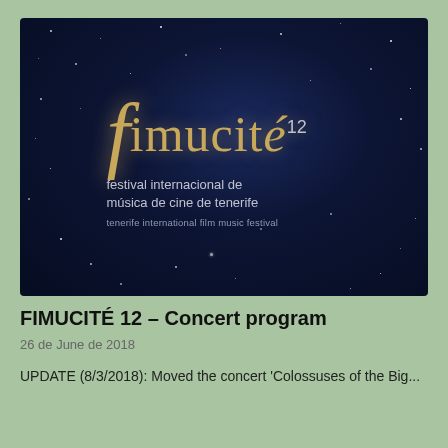[Figure (photo): FIMUCITÉ 12 festival logo on a dark starry night background. The logo features a stylized italic 'f' in gold followed by 'imucité' with a superscript '12', and subtitle text 'festival internacional de música de cine de tenerife' and 'tenerife international film music festival'.]
FIMUCITÉ 12 – Concert program
26 de June de 2018
UPDATE (8/3/2018): Moved the concert 'Colossuses of the Big...